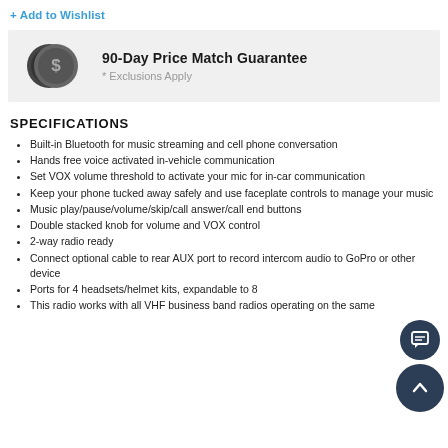+ Add to Wishlist
[Figure (infographic): 90-Day Price Match Guarantee banner with two overlapping dollar coin icons on grey background. Text reads '90-Day Price Match Guarantee' and '* Exclusions Apply']
SPECIFICATIONS
Built-in Bluetooth for music streaming and cell phone conversation
Hands free voice activated in-vehicle communication
Set VOX volume threshold to activate your mic for in-car communication
Keep your phone tucked away safely and use faceplate controls to manage your music
Music play/pause/volume/skip/call answer/call end buttons
Double stacked knob for volume and VOX control
2-way radio ready
Connect optional cable to rear AUX port to record intercom audio to GoPro or other device
Ports for 4 headsets/helmet kits, expandable to 8
This radio works with all VHF business band radios operating on the same